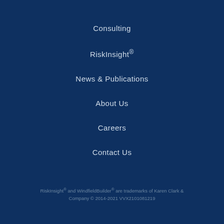Consulting
RiskInsight®
News & Publications
About Us
Careers
Contact Us
RiskInsight® and WindfieldBuilder® are trademarks of Karen Clark & Company © 2014-2021 VVX2101081219